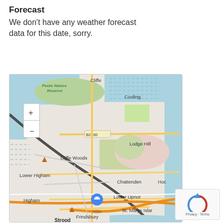Forecast
We don't have any weather forecast data for this date, sorry.
[Figure (map): OpenStreetMap showing area around Strood, Frindsbury, Cliffe, Cliffe Woods, Lower Higham, Higham, Cooling, Lodge Hill, Chattenden, Lower Upnor, St. Marys Island, Brompton. B2000 road visible. Blue map pin marker shown near Frindsbury/Strood. Zoom controls (+/-) in top left corner.]
[Figure (other): reCAPTCHA logo widget with Privacy and Terms text links]